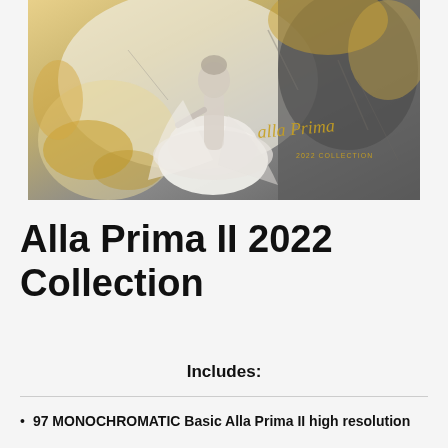[Figure (illustration): Artistic painting/photograph of a young girl in a white tutu/dress with mixed media background of charcoal gray and golden/amber tones. Gold cursive signature reading 'Alla Prima' with '2022 COLLECTION' text in lower right.]
Alla Prima II 2022 Collection
Includes:
97 MONOCHROMATIC Basic Alla Prima II high resolution